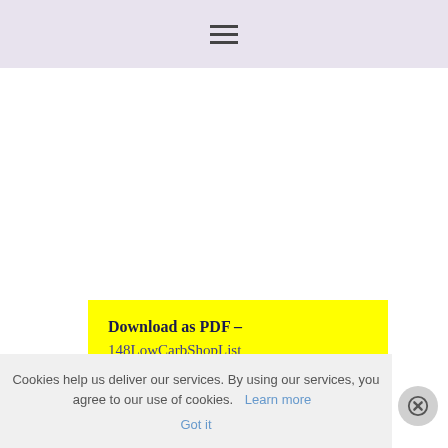☰ (hamburger menu icon)
Download as PDF –
148LowCarbShopList
Cookies help us deliver our services. By using our services, you agree to our use of cookies. Learn more  Got it